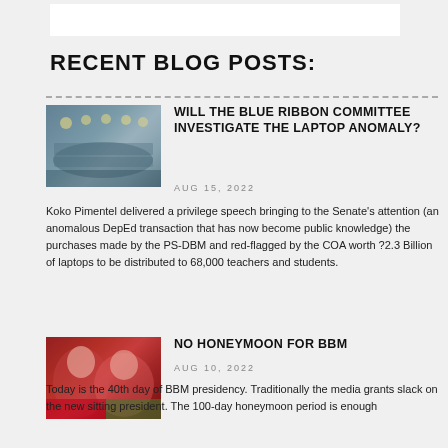[Figure (other): White header banner/logo area at top of page]
RECENT BLOG POSTS:
[Figure (photo): Photo of a committee hearing room with people seated at long tables, overhead lighting]
WILL THE BLUE RIBBON COMMITTEE INVESTIGATE THE LAPTOP ANOMALY?
AUG 15, 2022
Koko Pimentel delivered a privilege speech bringing to the Senate's attention (an anomalous DepEd transaction that has now become public knowledge) the purchases made by the PS-DBM and red-flagged by the COA worth ?2.3 Billion of laptops to be distributed to 68,000 teachers and students.
[Figure (photo): Photo of two women, one in red, looking upward, political figures]
NO HONEYMOON FOR BBM
AUG 10, 2022
Today is the 40th day of BBM presidency. Traditionally the media grants slack on the new sitting president. The 100-day honeymoon period is enough